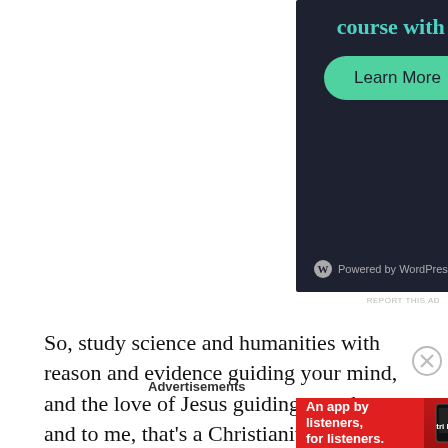[Figure (screenshot): WordPress.com advertisement banner with dark background showing 'course with WordPress' heading, green 'Learn More' button, and 'Powered by WordPress.com' footer text.]
REPORT THIS AD
So, study science and humanities with reason and evidence guiding your mind, and the love of Jesus guiding your heart, and to me, that's a Christianity worth believing in.
Advertisements
[Figure (screenshot): Pocket Casts advertisement. Red background with text 'An app by listeners, for listeners.' and Pocket Casts logo on the right, phone image in center.]